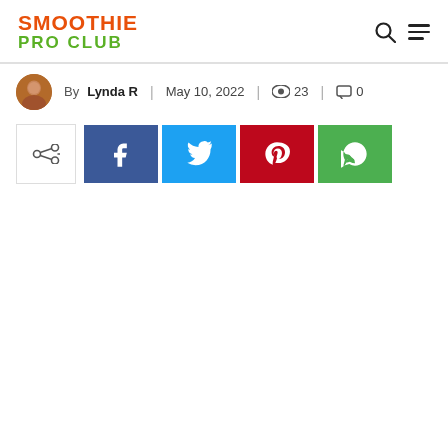SMOOTHIE PRO CLUB
By Lynda R | May 10, 2022 | 23 | 0
[Figure (screenshot): Social share buttons row: share icon box with arrow, Facebook (blue), Twitter (cyan), Pinterest (red), WhatsApp (green)]